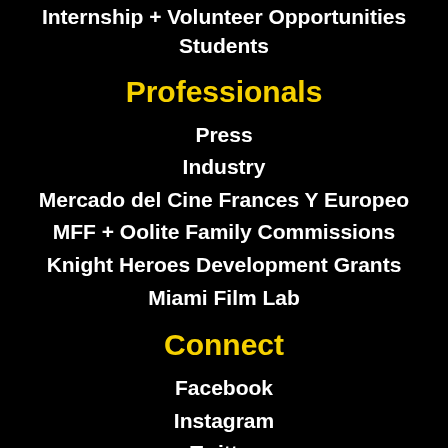Internship + Volunteer Opportunities
Students
Professionals
Press
Industry
Mercado del Cine Frances Y Europeo
MFF + Oolite Family Commissions
Knight Heroes Development Grants
Miami Film Lab
Connect
Facebook
Instagram
Twitter
YouTube
Flickr